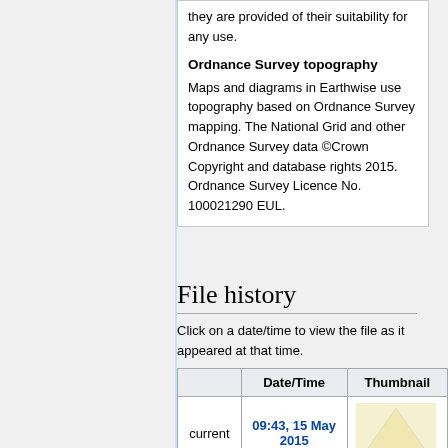they are provided of their suitability for any use.
Ordnance Survey topography
Maps and diagrams in Earthwise use topography based on Ordnance Survey mapping. The National Grid and other Ordnance Survey data ©Crown Copyright and database rights 2015. Ordnance Survey Licence No. 100021290 EUL.
File history
Click on a date/time to view the file as it appeared at that time.
|  | Date/Time | Thumbnail |
| --- | --- | --- |
| current | 09:43, 15 May 2015 | [thumbnail] |